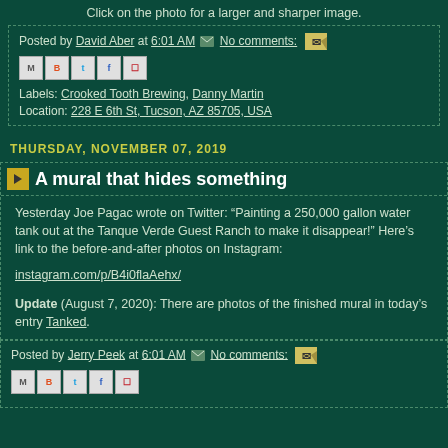Click on the photo for a larger and sharper image.
Posted by David Aber at 6:01 AM  No comments:
Labels: Crooked Tooth Brewing, Danny Martin
Location: 228 E 6th St, Tucson, AZ 85705, USA
THURSDAY, NOVEMBER 07, 2019
A mural that hides something
Yesterday Joe Pagac wrote on Twitter: “Painting a 250,000 gallon water tank out at the Tanque Verde Guest Ranch to make it disappear!” Here’s link to the before-and-after photos on Instagram:
instagram.com/p/B4i0flaAehx/
Update (August 7, 2020): There are photos of the finished mural in today’s entry Tanked.
Posted by Jerry Peek at 6:01 AM  No comments: